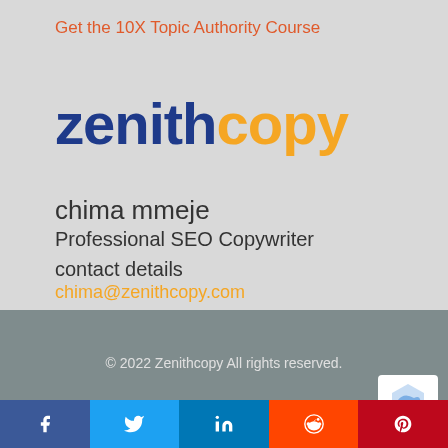Get the 10X Topic Authority Course
[Figure (logo): Zenithcopy logo: 'zenith' in dark blue bold, 'copy' in orange/yellow bold]
chima mmeje
Professional SEO Copywriter
contact details
chima@zenithcopy.com
© 2022 Zenithcopy All rights reserved.